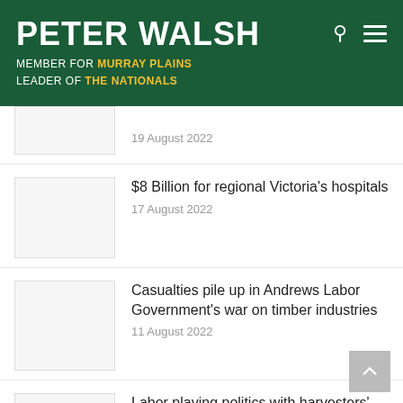PETER WALSH
MEMBER FOR MURRAY PLAINS
LEADER OF THE NATIONALS
19 August 2022
$8 Billion for regional Victoria's hospitals
17 August 2022
Casualties pile up in Andrews Labor Government's war on timber industries
11 August 2022
Labor playing politics with harvesters' lives